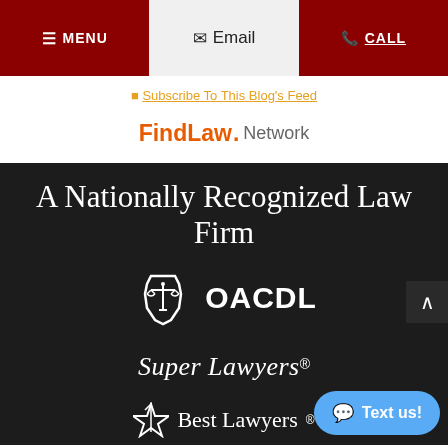MENU | Email | CALL
Subscribe To This Blog's Feed
[Figure (logo): FindLaw Network logo with orange FindLaw text and grey Network text]
A Nationally Recognized Law Firm
[Figure (logo): OACDL logo - Ohio state outline with scales of justice icon and OACDL text in white]
[Figure (logo): Super Lawyers logo in white italic serif text]
[Figure (logo): Best Lawyers logo partially visible at bottom]